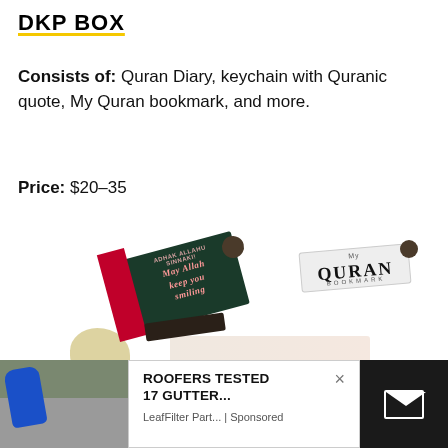DKP BOX
Consists of: Quran Diary, keychain with Quranic quote, My Quran bookmark, and more.
Price: $20–35
[Figure (photo): Product photo showing DKP Box contents: a dark green and red diary/notebook with 'ADHAK ALLAHU SINNAKI' and script 'May Allah keep you smiling', a coin keychain, a 'My Quran Bookmark' bookmark, a gold bird figurine, and floral items on a white background. Bottom portion shows a partial image of a person cleaning gutters overlaid by an advertisement popup reading 'ROOFERS TESTED 17 GUTTER...' from LeafFilter Part... | Sponsored, with an X close button and email icon.]